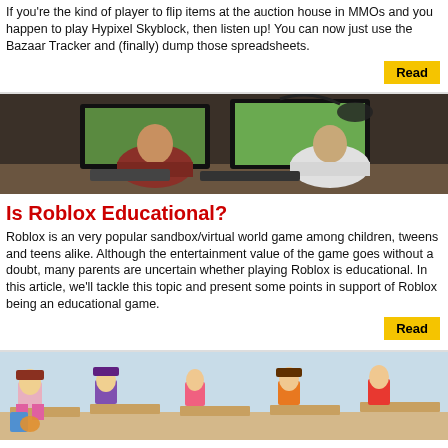If you're the kind of player to flip items at the auction house in MMOs and you happen to play Hypixel Skyblock, then listen up! You can now just use the Bazaar Tracker and (finally) dump those spreadsheets.
Read
[Figure (photo): Two children sitting at computers in a computer lab, viewed from behind, with monitors showing game content and a headset visible.]
Is Roblox Educational?
Roblox is an very popular sandbox/virtual world game among children, tweens and teens alike. Although the entertainment value of the game goes without a doubt, many parents are uncertain whether playing Roblox is educational. In this article, we'll tackle this topic and present some points in support of Roblox being an educational game.
Read
[Figure (screenshot): Roblox game screenshot showing cartoon-style avatar characters sitting at desks in a classroom setting.]
Find Similar Games at PlayGamesLike
Are you bored of the games you're currently playing? Well, have no fear - Our site PlayGamesLike is here to the rescue!
Read